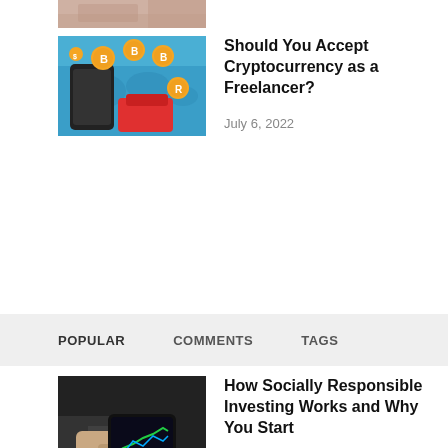[Figure (photo): Partial top image strip showing bottom of a photo]
[Figure (photo): Cryptocurrency concept image: hands holding phone with Bitcoin coins on blue world map background with red wallet]
Should You Accept Cryptocurrency as a Freelancer?
July 6, 2022
POPULAR   COMMENTS   TAGS
[Figure (photo): Person using smartphone with financial charts/data on screen]
How Socially Responsible Investing Works and Why You Start
August 24, 2022